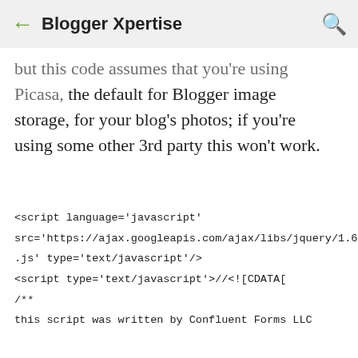← Blogger Xpertise 🔍
but this code assumes that you're using Picasa, the default for Blogger image storage, for your blog's photos; if you're using some other 3rd party this won't work.
<script language='javascript'

src='https://ajax.googleapis.com/ajax/libs/jquery/1.6.4/jquery.min

.js' type='text/javascript'/>

<script type='text/javascript'>//<![CDATA[

/**

this script was written by Confluent Forms LLC